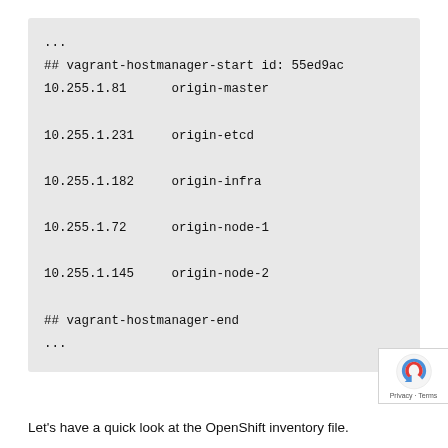...
## vagrant-hostmanager-start id: 55ed9ac...
10.255.1.81      origin-master

10.255.1.231     origin-etcd

10.255.1.182     origin-infra

10.255.1.72      origin-node-1

10.255.1.145     origin-node-2

## vagrant-hostmanager-end
...
Let's have a quick look at the OpenShift inventory file.